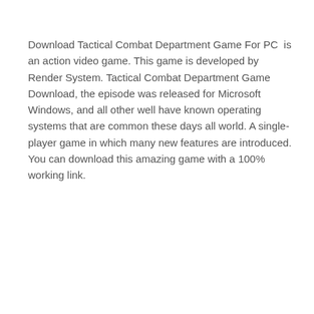Download Tactical Combat Department Game For PC  is an action video game. This game is developed by Render System. Tactical Combat Department Game Download, the episode was released for Microsoft Windows, and all other well have known operating systems that are common these days all world. A single-player game in which many new features are introduced. You can download this amazing game with a 100% working link.